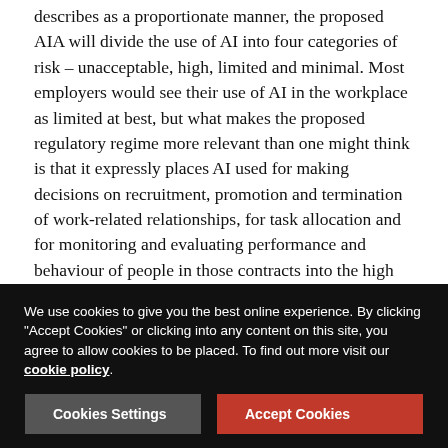themselves create that possibility. To head that off in what it describes as a proportionate manner, the proposed AIA will divide the use of AI into four categories of risk – unacceptable, high, limited and minimal. Most employers would see their use of AI in the workplace as limited at best, but what makes the proposed regulatory regime more relevant than one might think is that it expressly places AI used for making decisions on recruitment, promotion and termination of work-related relationships, for task allocation and for monitoring and evaluating performance and behaviour of people in those contracts into the high risk band.
That will bring with it a number of consequences for employers using AI for that purpose, and that will be a substantial and growing population. CV scanners, auto-marked non-verbal reasoning tests, work allocation software using details of an individual's location or activity levels or
We use cookies to give you the best online experience. By clicking "Accept Cookies" or clicking into any content on this site, you agree to allow cookies to be placed. To find out more visit our cookie policy.